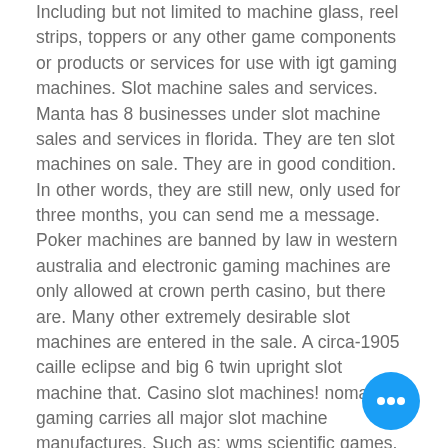Including but not limited to machine glass, reel strips, toppers or any other game components or products or services for use with igt gaming machines. Slot machine sales and services. Manta has 8 businesses under slot machine sales and services in florida. They are ten slot machines on sale. They are in good condition. In other words, they are still new, only used for three months, you can send me a message. Poker machines are banned by law in western australia and electronic gaming machines are only allowed at crown perth casino, but there are. Many other extremely desirable slot machines are entered in the sale. A circa-1905 caille eclipse and big 6 twin upright slot machine that. Casino slot machines! nomad gaming carries all major slot machine manufactures. Such as; wms scientific games, bally, igt, aristocrat, ainsworth. Before you start searching for slot
[Figure (other): Blue circular chat/messaging button with three white dots in the center, positioned at bottom right of the page.]